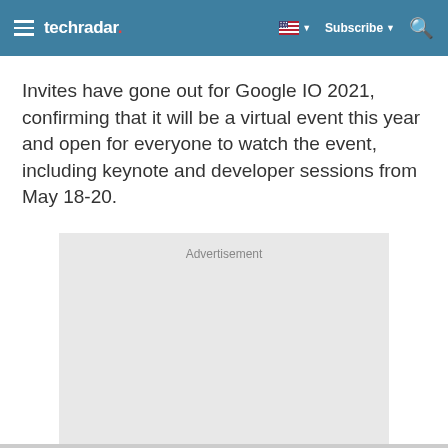techradar | Subscribe | Search
Invites have gone out for Google IO 2021, confirming that it will be a virtual event this year and open for everyone to watch the event, including keynote and developer sessions from May 18-20.
[Figure (other): Advertisement placeholder box with light grey background]